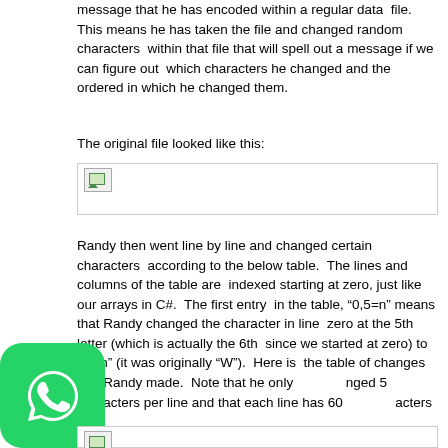message that he has encoded within a regular data file. This means he has taken the file and changed random characters within that file that will spell out a message if we can figure out which characters he changed and the ordered in which he changed them.
The original file looked like this:
[Figure (other): Broken image placeholder showing original file content]
Randy then went line by line and changed certain characters according to the below table. The lines and columns of the table are indexed starting at zero, just like our arrays in C#. The first entry in the table, "0,5=n" means that Randy changed the character in line zero at the 5th letter (which is actually the 6th since we started at zero) to be "n" (it was originally "W"). Here is the table of changes that Randy made. Note that he only changed 5 characters per line and that each line has 60 characters in it.
[Figure (other): Broken image placeholder showing table of changes]